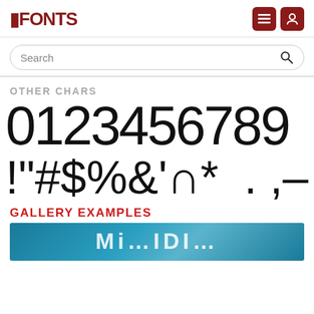FFONTS
Search
OTHER CHARS
[Figure (illustration): Large display of font characters: 0123456789 on first row, then !"#$%&'()* .,- with a StudioTypo watermark box and / on second row]
GALLERY EXAMPLES
[Figure (photo): Gallery example image with blue/teal background and large white text reading 'Mi...IDI...']